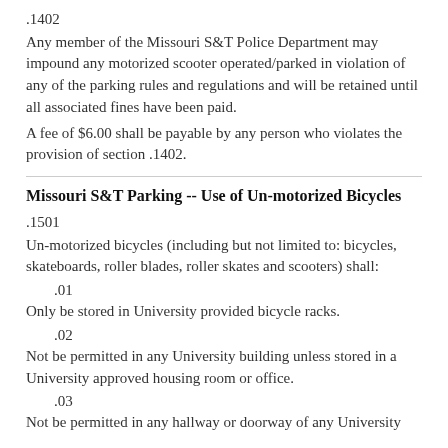.1402
Any member of the Missouri S&T Police Department may impound any motorized scooter operated/parked in violation of any of the parking rules and regulations and will be retained until all associated fines have been paid.
A fee of $6.00 shall be payable by any person who violates the provision of section .1402.
Missouri S&T Parking -- Use of Un-motorized Bicycles
.1501
Un-motorized bicycles (including but not limited to: bicycles, skateboards, roller blades, roller skates and scooters) shall:
.01
Only be stored in University provided bicycle racks.
.02
Not be permitted in any University building unless stored in a University approved housing room or office.
.03
Not be permitted in any hallway or doorway of any University